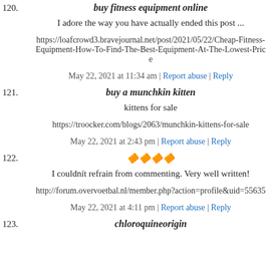120. buy fitness equipment online
I adore the way you have actually ended this post ...
https://loafcrowd3.bravejournal.net/post/2021/05/22/Cheap-Fitness-Equipment-How-To-Find-The-Best-Equipment-At-The-Lowest-Price
May 22, 2021 at 11:34 am | Report abuse | Reply
121. buy a munchkin kitten
kittens for sale
https://troocker.com/blogs/2063/munchkin-kittens-for-sale
May 22, 2021 at 2:43 pm | Report abuse | Reply
122. 🔶🔶🔶🔶
I couldnít refrain from commenting. Very well written!
http://forum.overvoetbal.nl/member.php?action=profile&uid=55635
May 22, 2021 at 4:11 pm | Report abuse | Reply
123. chloroquineorigin